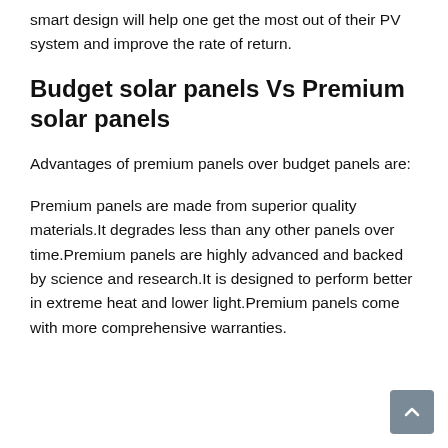smart design will help one get the most out of their PV system and improve the rate of return.
Budget solar panels Vs Premium solar panels
Advantages of premium panels over budget panels are:
Premium panels are made from superior quality materials.It degrades less than any other panels over time.Premium panels are highly advanced and backed by science and research.It is designed to perform better in extreme heat and lower light.Premium panels come with more comprehensive warranties.